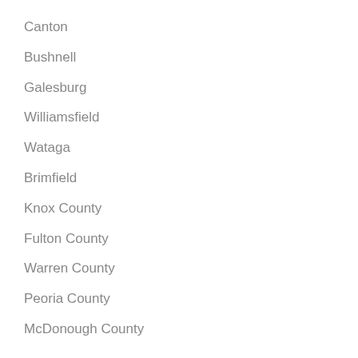Canton
Bushnell
Galesburg
Williamsfield
Wataga
Brimfield
Knox County
Fulton County
Warren County
Peoria County
McDonough County